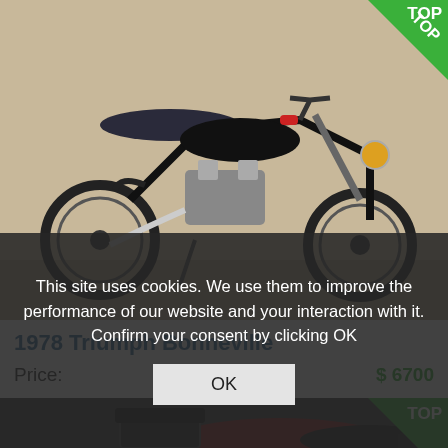[Figure (photo): 1978 Triumph Bonneville motorcycle, black and chrome, side view on pavement. Green TOP badge in top-right corner.]
1978 Triumph Bonneville
Price:  $ 6700
[Figure (photo): Red/maroon motorcycle with luggage rack, partially visible. Green TOP badge in top-right corner. Cookie consent overlay covering lower portion.]
This site uses cookies. We use them to improve the performance of our website and your interaction with it. Confirm your consent by clicking OK